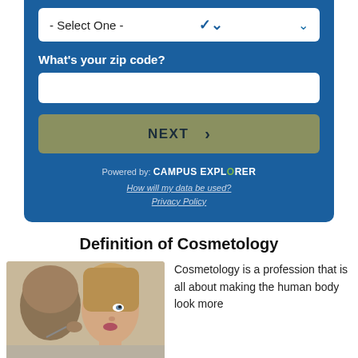[Figure (screenshot): Web form UI with select dropdown showing '- Select One -', zip code label and input field, NEXT button, Powered by Campus Explorer branding, and data/privacy links]
Definition of Cosmetology
[Figure (photo): Photo of a cosmetologist applying makeup to a model's lips, both women, close-up shot]
Cosmetology is a profession that is all about making the human body look more